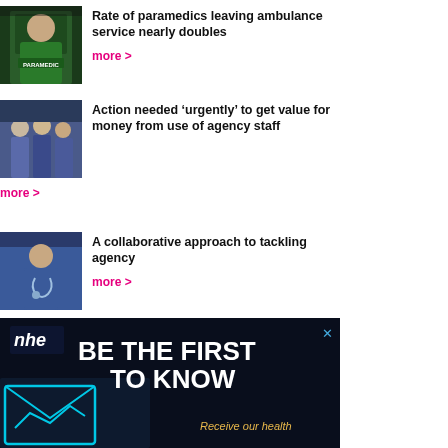[Figure (photo): Paramedic in green jacket with PARAMEDIC text on back]
Rate of paramedics leaving ambulance service nearly doubles
more >
[Figure (photo): Medical/healthcare workers in blue scrubs]
Action needed ‘urgently’ to get value for money from use of agency staff
more >
[Figure (photo): Healthcare worker in blue scrubs with stethoscope]
A collaborative approach to tackling agency
more >
[Figure (screenshot): NHE advertisement banner: BE THE FIRST TO KNOW. Receive our health. Dark background with envelope icon and nhe logo.]